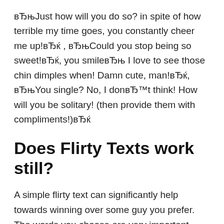вЂњJust how will you do so? in spite of how terrible my time goes, you constantly cheer me up!вЂќ , вЂњCould you stop being so sweet!вЂќ, you smileвЂњ I love to see those chin dimples when! Damn cute, man!вЂќ, вЂњYou single? No, I donвЂ™t think! How will you be solitary! (then provide them with compliments!)вЂќ
Does Flirty Texts work still?
A simple flirty text can significantly help towards winning over some guy you prefer. The words you choose are very important while a lot of it is about timing. This list should assist you to drive your guy crazy so heвЂ™ll never ever also think of leaving you. These texts can be helpful him yours if you have a crush on a guy and want to make. Check out many of these flirty texting and simply see how